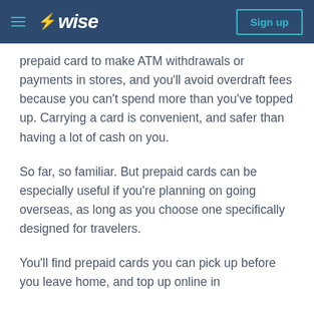Wise — Sign up
prepaid card to make ATM withdrawals or payments in stores, and you'll avoid overdraft fees because you can't spend more than you've topped up. Carrying a card is convenient, and safer than having a lot of cash on you.
So far, so familiar. But prepaid cards can be especially useful if you're planning on going overseas, as long as you choose one specifically designed for travelers.
You'll find prepaid cards you can pick up before you leave home, and top up online in